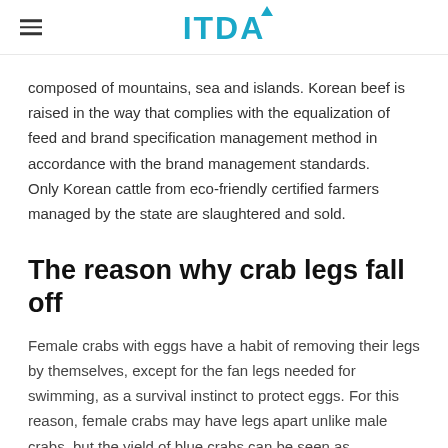ITDA
composed of mountains, sea and islands. Korean beef is raised in the way that complies with the equalization of feed and brand specification management method in accordance with the brand management standards.
Only Korean cattle from eco-friendly certified farmers managed by the state are slaughtered and sold.
The reason why crab legs fall off
Female crabs with eggs have a habit of removing their legs by themselves, except for the fan legs needed for swimming, as a survival instinct to protect eggs. For this reason, female crabs may have legs apart unlike male crabs, but the yield of blue crabs can be seen as freshness, egg retention, and